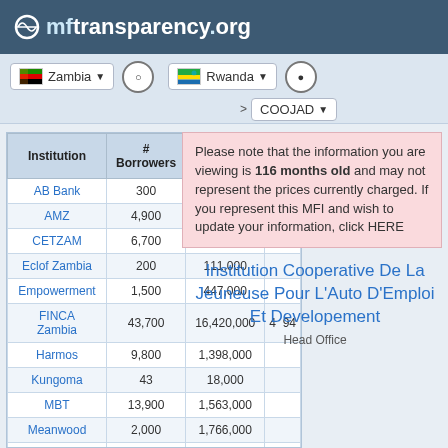mftransparency.org
Zambia (dropdown) | Rwanda (dropdown) | COOJAD (dropdown)
| Institution | # Borrowers | Portfolio (US$) | P |
| --- | --- | --- | --- |
| AB Bank | 300 | 307,000 |  |
| AMZ | 4,900 | 651,000 |  |
| CETZAM | 6,700 | 2,210,000 |  |
| Eclof Zambia | 200 | 111,000 |  |
| Empowerment | 1,500 | 447,000 |  |
| FINCA Zambia | 43,700 | 16,420,000 | 4  94 |
| Harmos | 9,800 | 1,398,000 |  |
| Kungoma | 43 | 18,000 |  |
| MBT | 13,900 | 1,563,000 |  |
| Meanwood | 2,000 | 1,766,000 |  |
| PESI | 1,300 | 3,506,000 |  |
Please note that the information you are viewing is 116 months old and may not represent the prices currently charged. If you represent this MFI and wish to update your information, click HERE
Institution Cooperative De La Jeuneuse Pour L'Auto D'Emploi Et Developement
Head Office